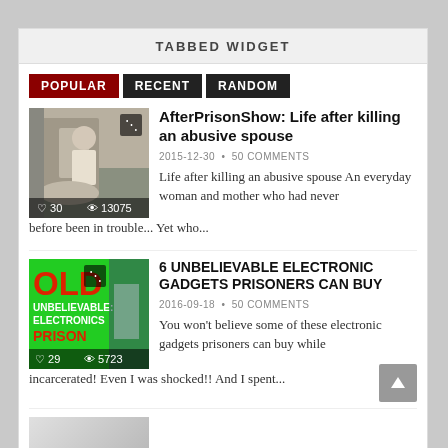TABBED WIDGET
POPULAR
RECENT
RANDOM
[Figure (photo): Street fight photo with share icon. Stats: 30 likes, 13075 views.]
AfterPrisonShow: Life after killing an abusive spouse
2015-12-30 • 50 COMMENTS
Life after killing an abusive spouse An everyday woman and mother who had never before been in trouble... Yet who...
[Figure (photo): Electronic gadgets sign photo with green background, text: OLD, UNBELIEVABLE, ELECTRONICS, PRISON. Stats: 29 likes, 5723 views.]
6 UNBELIEVABLE ELECTRONIC GADGETS PRISONERS CAN BUY
2016-09-18 • 50 COMMENTS
You won't believe some of these electronic gadgets prisoners can buy while incarcerated! Even I was shocked!! And I spent...